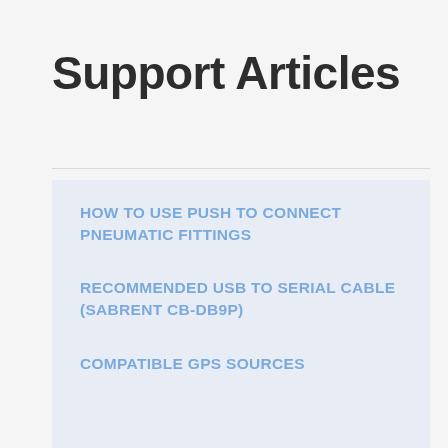Support Articles
HOW TO USE PUSH TO CONNECT PNEUMATIC FITTINGS
RECOMMENDED USB TO SERIAL CABLE (SABRENT CB-DB9P)
COMPATIBLE GPS SOURCES